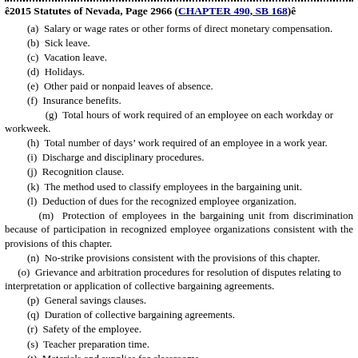©2015 Statutes of Nevada, Page 2966 (CHAPTER 490, SB 168)©
(a)  Salary or wage rates or other forms of direct monetary compensation.
(b)  Sick leave.
(c)  Vacation leave.
(d)  Holidays.
(e)  Other paid or nonpaid leaves of absence.
(f)  Insurance benefits.
(g)  Total hours of work required of an employee on each workday or workweek.
(h)  Total number of days' work required of an employee in a work year.
(i)  Discharge and disciplinary procedures.
(j)  Recognition clause.
(k)  The method used to classify employees in the bargaining unit.
(l)  Deduction of dues for the recognized employee organization.
(m)  Protection of employees in the bargaining unit from discrimination because of participation in recognized employee organizations consistent with the provisions of this chapter.
(n)  No-strike provisions consistent with the provisions of this chapter.
(o)  Grievance and arbitration procedures for resolution of disputes relating to interpretation or application of collective bargaining agreements.
(p)  General savings clauses.
(q)  Duration of collective bargaining agreements.
(r)  Safety of the employee.
(s)  Teacher preparation time.
(t)  Materials and supplies for classrooms.
(u)  The policies for the transfer and reassignment of teachers.
(v)  Procedures for reduction in workforce consistent with the provisions of this chapter.
(w)  Procedures [and requirements] consistent with the provisions of